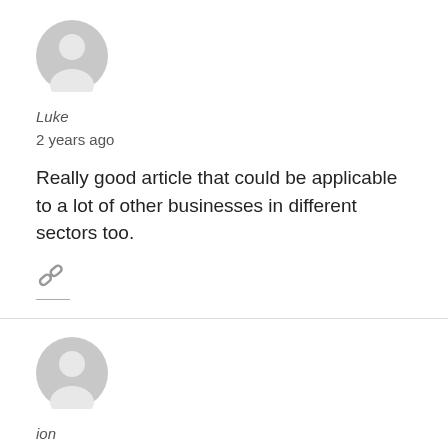[Figure (illustration): Generic user avatar icon — gray circle with person silhouette]
Luke
2 years ago
Really good article that could be applicable to a lot of other businesses in different sectors too.
[Figure (illustration): Link/chain icon in gray]
[Figure (illustration): Generic user avatar icon — gray circle with person silhouette]
ion
2 years ago